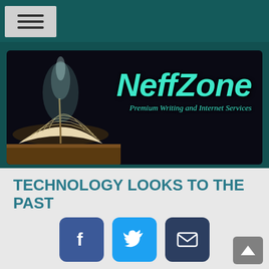NeffZone — Premium Writing and Internet Services (site header/banner)
TECHNOLOGY LOOKS TO THE PAST
[Figure (infographic): Social sharing buttons: Facebook (blue), Twitter (light blue), Email (dark blue)]
THE NEFF ZONE -- BY JIM NEFF
CADILLAC NEWS -- DECEMBER 14, 2019
Technology marches on. I often recall the quote: "Technology is